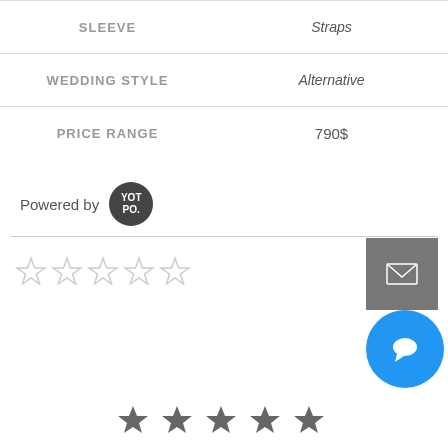| Attribute | Value |
| --- | --- |
| SLEEVE | Straps |
| WEDDING STYLE | Alternative |
| PRICE RANGE | 790$ |
Powered by YOTPO.
[Figure (other): Five empty star rating icons (outline only)]
[Figure (other): Envelope icon button (grey square background)]
[Figure (other): Chat bubble icon button (blue circle)]
[Figure (other): Five filled star rating icons at bottom]